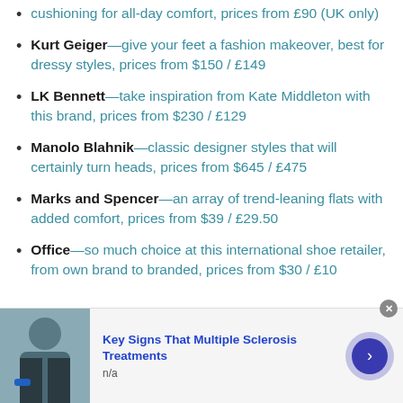cushioning for all-day comfort, prices from £90 (UK only)
Kurt Geiger—give your feet a fashion makeover, best for dressy styles, prices from $150 / £149
LK Bennett—take inspiration from Kate Middleton with this brand, prices from $230 / £129
Manolo Blahnik—classic designer styles that will certainly turn heads, prices from $645 / £475
Marks and Spencer—an array of trend-leaning flats with added comfort, prices from $39 / £29.50
Office—so much choice at this international shoe retailer, from own brand to branded, prices from $30 / £10
[Figure (screenshot): Advertisement banner: photo of a person with blue wristband, title 'Key Signs That Multiple Sclerosis Treatments', subtext 'n/a', with a forward arrow button]